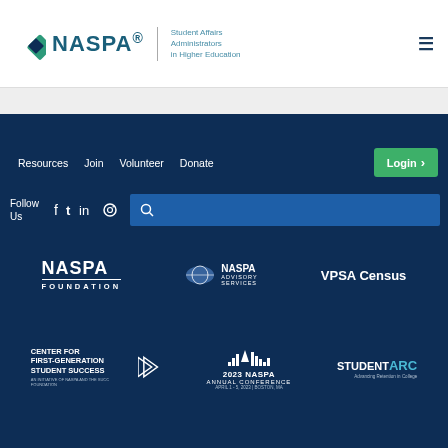NASPA Student Affairs Administrators in Higher Education
Resources  Join  Volunteer  Donate
Login
Follow Us
[Figure (logo): NASPA FOUNDATION logo in white text on dark blue background]
[Figure (logo): NASPA Advisory Services logo with globe icon on dark blue background]
[Figure (logo): VPSA Census text logo in white on dark blue background]
[Figure (logo): Center for First-Generation Student Success logo with arrow graphic on dark blue background]
[Figure (logo): 2023 NASPA Annual Conference logo with Boston skyline, April 1-5, 2023, Boston, MA]
[Figure (logo): StudentARC Advancing Retention in College logo on dark blue background]